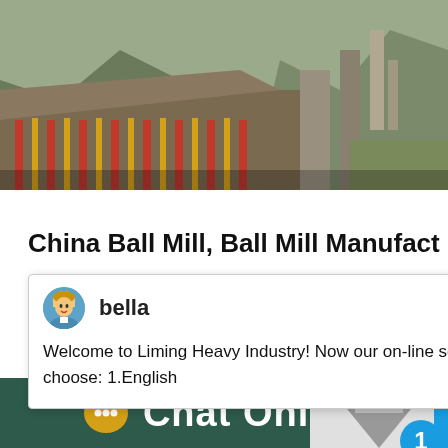[Figure (photo): Industrial facility photo showing a building with red columns and mountainous background]
China Ball Mill, Ball Mill Manufact
[Figure (screenshot): Chat popup window from Liming Heavy Industry website with avatar of agent named bella and welcome message]
and factory on Made-in-China
[Figure (photo): Secondary photo of industrial/mining area landscape]
[Figure (screenshot): Machine image on right side with blue badge showing number 1 and Click me to chat button]
Chat Online